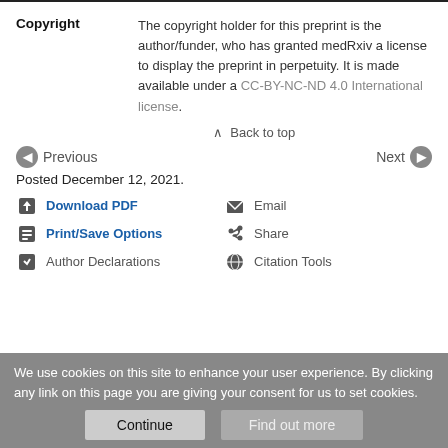Copyright
The copyright holder for this preprint is the author/funder, who has granted medRxiv a license to display the preprint in perpetuity. It is made available under a CC-BY-NC-ND 4.0 International license.
Back to top
Previous
Next
Posted December 12, 2021.
Download PDF
Email
Print/Save Options
Share
Author Declarations
Citation Tools
We use cookies on this site to enhance your user experience. By clicking any link on this page you are giving your consent for us to set cookies.
Continue
Find out more